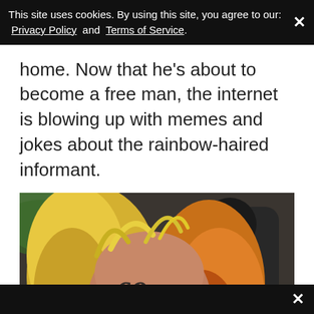This site uses cookies. By using this site, you agree to our: Privacy Policy and Terms of Service.
home. Now that he's about to become a free man, the internet is blowing up with memes and jokes about the rainbow-haired informant.
[Figure (photo): Close-up photo of a person with rainbow-colored curly hair (yellow and orange/red), a '69' tattoo on their forehead, and prominent eyebrows. Another person in a dark hoodie is visible in the background.]